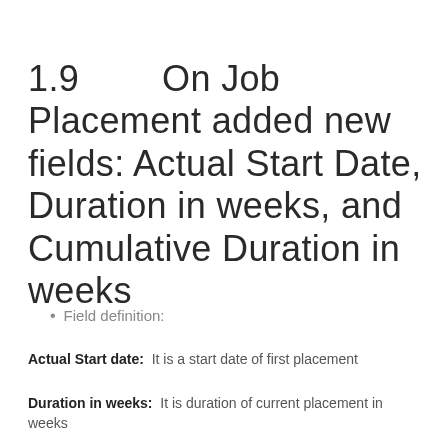1.9        On Job Placement added new fields: Actual Start Date, Duration in weeks, and Cumulative Duration in weeks
Field definition:
Actual Start date:  It is a start date of first placement
Duration in weeks:  It is duration of current placement in weeks